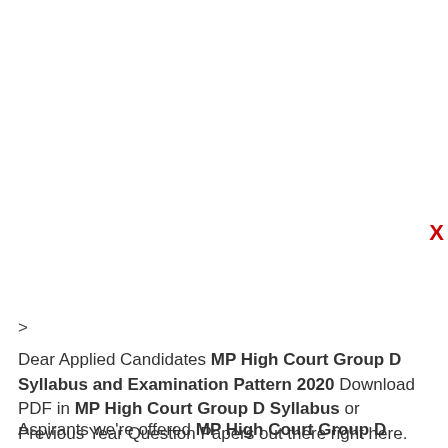>
Dear Applied Candidates MP High Court Group D Syllabus and Examination Pattern 2020 Download PDF in MP High Court Group D Syllabus or Previous Year Question Papers out there right here.
Aspirants we're offered MP High Court Group D